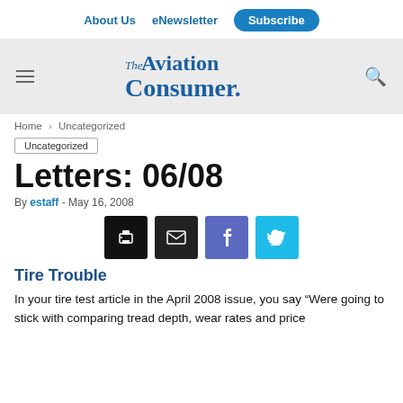About Us  eNewsletter  Subscribe
[Figure (logo): The Aviation Consumer logo in blue serif/script font on gray background with hamburger menu and search icon]
Home > Uncategorized
Uncategorized
Letters: 06/08
By estaff - May 16, 2008
[Figure (infographic): Social share buttons: print (black), email (black), Facebook (purple-blue), Twitter (cyan)]
Tire Trouble
In your tire test article in the April 2008 issue, you say “Were going to stick with comparing tread depth, wear rates and price